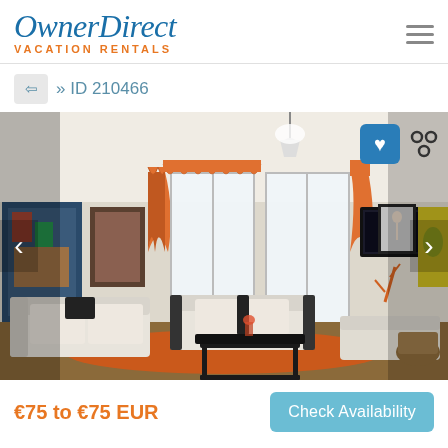OwnerDirect VACATION RENTALS
» ID 210466
[Figure (photo): Interior photo of a vacation rental apartment living room with white sofas, orange curtains, black coffee table, orange rug, wall art paintings, and a flat screen TV mounted on the wall. Left and right navigation arrows are visible on the photo edges, and a heart/favorite button appears in the upper right of the photo.]
€75 to €75 EUR
Check Availability